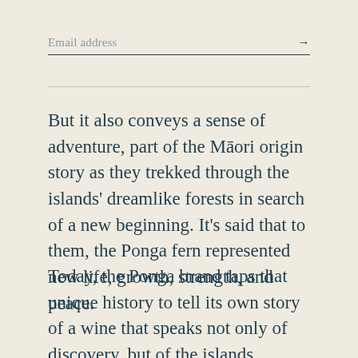Email address →
But it also conveys a sense of adventure, part of the Māori origin story as they trekked through the islands' dreamlike forests in search of a new beginning. It's said that to them, the Ponga fern represented new life, growth, strength, and peace.
Today, the Ponga brand taps that unique history to tell its own story of a wine that speaks not only of discovery, but of the islands renowned for their fresh